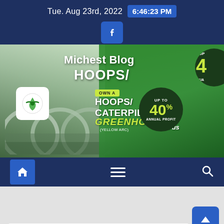Tue. Aug 23rd, 2022  6:46:23 PM
[Figure (screenshot): Website banner for Michest Blog showing greenhouse/hoops caterpillar with text: Michest Blog, HOOPS/, OWN A HOOPS/CATERPILLAR GREENHOUSE (YELLOW ARC) With us, UP TO 40% ANNUAL PROFIT. Green agricultural background with hoop greenhouse structures.]
[Figure (infographic): Navigation bar with home icon (highlighted blue), hamburger menu icon, and search icon on dark blue background.]
[Figure (screenshot): Scroll-to-top button (blue with up arrow) on light gray page content area. White card visible at bottom.]